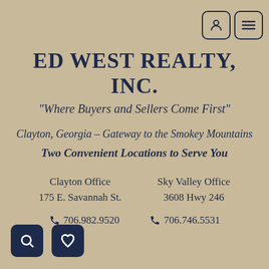ED WEST REALTY, INC.
"Where Buyers and Sellers Come First"
Clayton, Georgia - Gateway to the Smokey Mountains
Two Convenient Locations to Serve You
Clayton Office
175 E. Savannah St.
706.982.9520
Sky Valley Office
3608 Hwy 246
706.746.5531